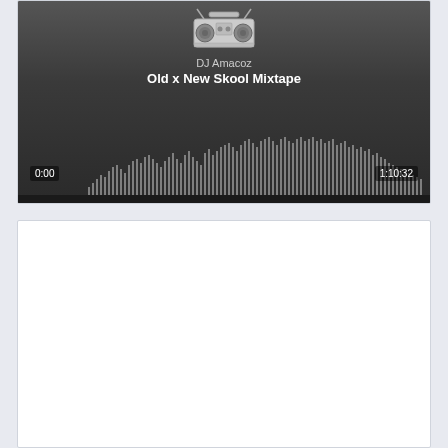[Figure (screenshot): SoundCloud-style audio player widget showing DJ Amacoz - Old x New Skool Mixtape with waveform visualization. Time 0:00 to 1:10:32. Dark background with boombox artwork.]
[Figure (screenshot): Empty white card/panel area, appears blank with no visible content.]